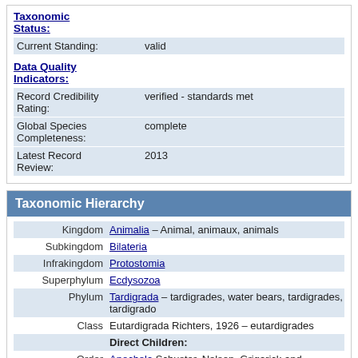Taxonomic Status:
| Field | Value |
| --- | --- |
| Current Standing: | valid |
Data Quality Indicators:
| Field | Value |
| --- | --- |
| Record Credibility Rating: | verified - standards met |
| Global Species Completeness: | complete |
| Latest Record Review: | 2013 |
Taxonomic Hierarchy
| Rank | Taxon |
| --- | --- |
| Kingdom | Animalia – Animal, animaux, animals |
| Subkingdom | Bilateria |
| Infrakingdom | Protostomia |
| Superphylum | Ecdysozoa |
| Phylum | Tardigrada – tardigrades, water bears, tardigrades, tardigrado |
| Class | Eutardigrada Richters, 1926 – eutardigrades |
|  | Direct Children: |
| Order | Apochela Schuster, Nelson, Grigarick and Christenberry, 1980 |
| Order | Parachela Schuster, Nelson, Grigarick and Christenberry, 1980 |